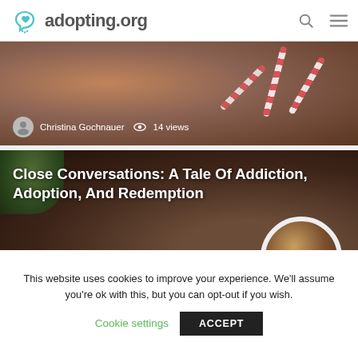adopting.org
[Figure (photo): Top portion of an article card showing candy canes on a wooden surface, with author name 'Christina Gochnauer' and '14 views' overlaid]
[Figure (photo): Article card showing a cup of coffee/tea and green plant leaves on dark background with article title text overlaid]
Close Conversations: A Tale Of Addiction, Adoption, And Redemption
This website uses cookies to improve your experience. We'll assume you're ok with this, but you can opt-out if you wish.
Cookie settings  ACCEPT